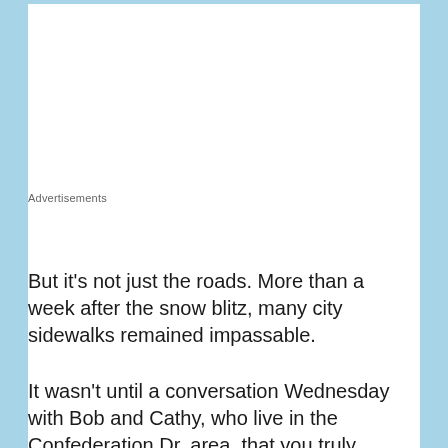Advertisements
But it’s not just the roads. More than a week after the snow blitz, many city sidewalks remained impassable.
It wasn’t until a conversation Wednesday with Bob and Cathy, who live in the Confederation Dr. area, that you truly grasped the frustration level of residents.
Cath
[Figure (photo): Black and white photo showing snow-covered area, partially visible]
Privacy & Cookies: This site uses cookies. By continuing to use this website, you agree to their use.
To find out more, including how to control cookies, see here: Cookie Policy
Close and accept
scoo